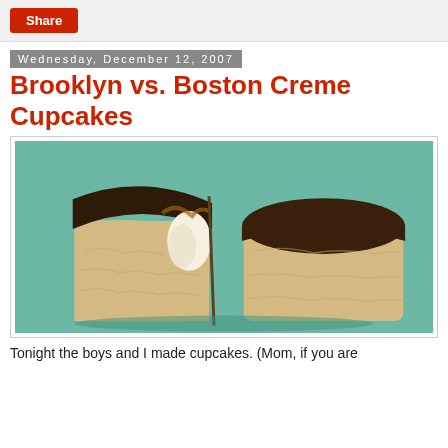Share
Wednesday, December 12, 2007
Brooklyn vs. Boston Creme Cupcakes
[Figure (photo): A Boston Creme cupcake cut in half, showing white cream filling inside, with chocolate ganache on top, placed on a teal/green plate.]
Tonight the boys and I made cupcakes. (Mom, if you are